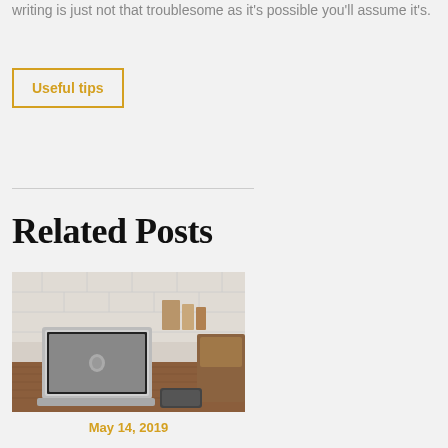writing is just not that troublesome as it's possible you'll assume it's.
Useful tips
Related Posts
[Figure (photo): A MacBook laptop on a wooden desk with a phone beside it, kitchen background with tile wall]
May 14, 2019